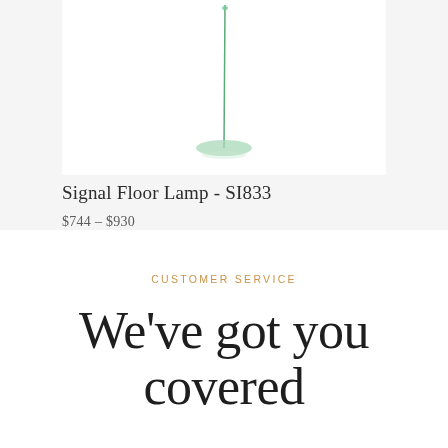[Figure (photo): Signal Floor Lamp product photo showing a minimalist floor lamp with a thin green stem and small green disc shade, photographed against a white background]
Signal Floor Lamp - SI833
$744 – $930
CUSTOMER SERVICE
We've got you covered